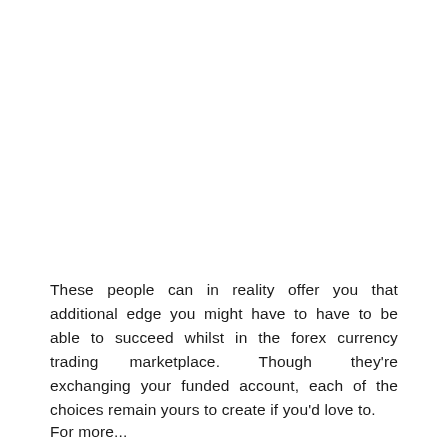These people can in reality offer you that additional edge you might have to have to be able to succeed whilst in the forex currency trading marketplace. Though they're exchanging your funded account, each of the choices remain yours to create if you'd love to.
For more...